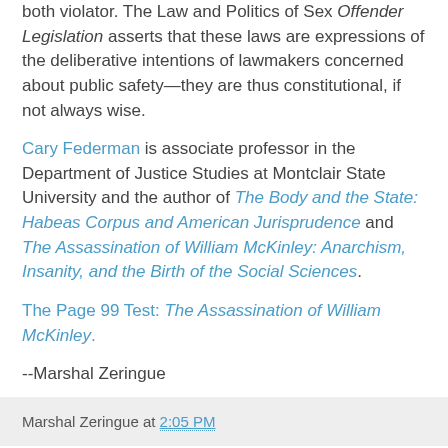both violator. The Law and Politics of Sex Offender Legislation asserts that these laws are expressions of the deliberative intentions of lawmakers concerned about public safety—they are thus constitutional, if not always wise.
Cary Federman is associate professor in the Department of Justice Studies at Montclair State University and the author of The Body and the State: Habeas Corpus and American Jurisprudence and The Assassination of William McKinley: Anarchism, Insanity, and the Birth of the Social Sciences.
The Page 99 Test: The Assassination of William McKinley.
--Marshal Zeringue
Marshal Zeringue at 2:05 PM
"The Swamp Peddlers"
New from the University of